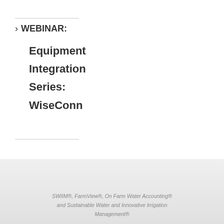WEBINAR: Equipment Integration Series: WiseConn
SWIIM®, FarmView®, On Farm Water Accounting® and Sustainable Water and Innovative Irrigation Management®